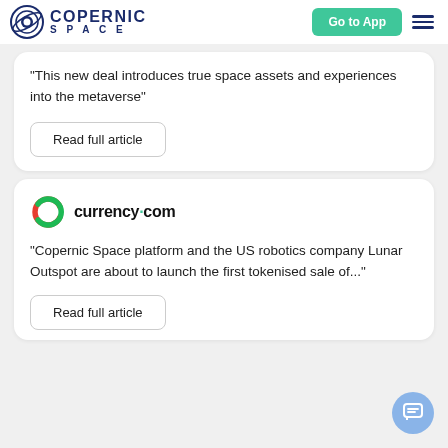Copernic Space | Go to App
"This new deal introduces true space assets and experiences into the metaverse"
Read full article
[Figure (logo): currency.com logo with red and green C icon and bold text 'currency.com']
"Copernic Space platform and the US robotics company Lunar Outspot are about to launch the first tokenised sale of..."
Read full article